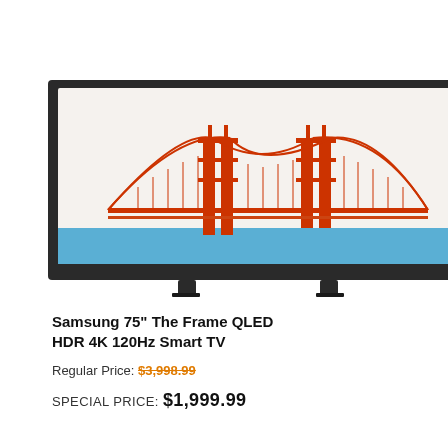[Figure (photo): Samsung 75-inch The Frame QLED TV displaying a minimalist illustration of the Golden Gate Bridge in red/orange on a light background with a blue water section at the bottom. The TV has a dark frame and stands on two small feet.]
Samsung 75" The Frame QLED HDR 4K 120Hz Smart TV
Regular Price: $3,998.99
SPECIAL PRICE: $1,999.99